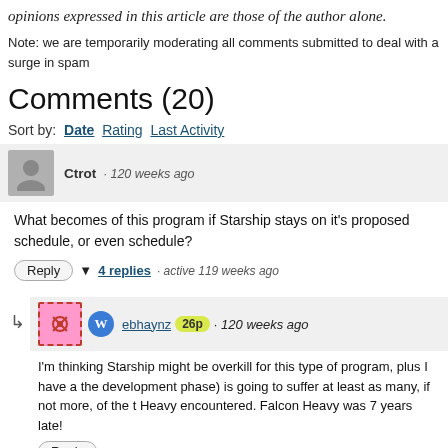opinions expressed in this article are those of the author alone.
Note: we are temporarily moderating all comments submitted to deal with a surge in spam
Comments (20)
Sort by: Date  Rating  Last Activity
Ctrot · 120 weeks ago
What becomes of this program if Starship stays on it's proposed schedule, or even schedule?
Reply ▼ 4 replies · active 119 weeks ago
ebhaynz 26p · 120 weeks ago
I'm thinking Starship might be overkill for this type of program, plus I have a the development phase) is going to suffer at least as many, if not more, of the t Heavy encountered. Falcon Heavy was 7 years late!
Reply
richardmalcolm1564 73p · 119 weeks ago
Yes, SpaceX almost always blows past its (aspirational) deadlines. But we